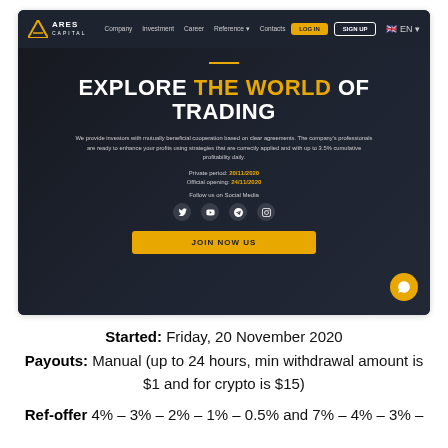[Figure (screenshot): Screenshot of the ARES Capital trading website homepage. Dark-themed site with navigation bar showing Company, Investment, Career, Reference, Contacts links, Log In (yellow) and Sign Up (outlined) buttons, and EN language selector. Hero section shows 'EXPLORE THE WORLD OF TRADING' headline with 'THE WORLD' in yellow, descriptive text about mutual cooperation and 3.5% cumulative profitability, Private period and Official opening dates, social media icons (Twitter, YouTube, Telegram, Instagram), and a yellow 'JOIN NOW US' button. Orange chat bubble in bottom right corner.]
Started: Friday, 20 November 2020
Payouts: Manual (up to 24 hours, min withdrawal amount is $1 and for crypto is $15)
Ref-offer 4% – 3% – 2% – 1% – 0.5% and 7% – 4% – 3% –